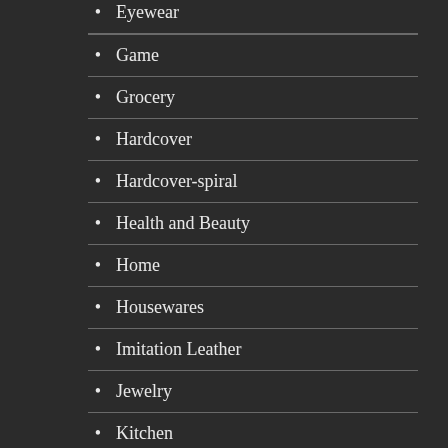Eyewear
Game
Grocery
Hardcover
Hardcover-spiral
Health and Beauty
Home
Housewares
Imitation Leather
Jewelry
Kitchen
Lawn & Patio